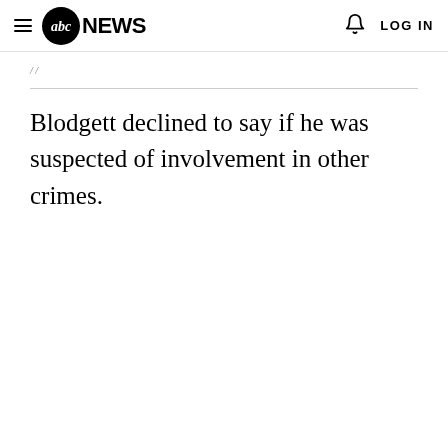abc NEWS  LOG IN
Blodgett declined to say if he was suspected of involvement in other crimes.